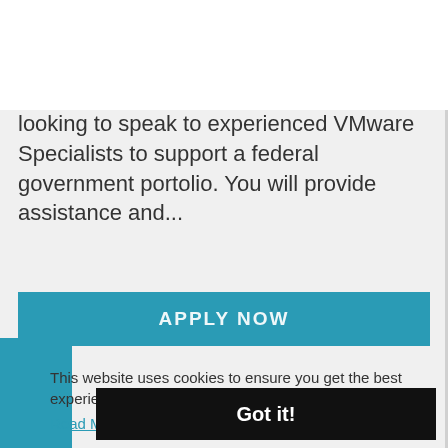[Figure (logo): Cleared logo with circular target icon in teal and the word 'Cleared' in teal bold text]
Cleared are working with a leader in cloud computing and virtualisation. We are looking to speak to experienced VMware Specialists to support a federal government portolio. You will provide assistance and...
APPLY NOW
This website uses cookies to ensure you get the best experience on our website.
Read More
Got it!